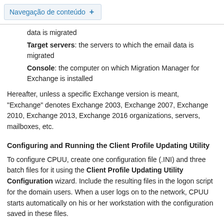Navegação de conteúdo +
data is migrated
Target servers: the servers to which the email data is migrated
Console: the computer on which Migration Manager for Exchange is installed
Hereafter, unless a specific Exchange version is meant, "Exchange" denotes Exchange 2003, Exchange 2007, Exchange 2010, Exchange 2013, Exchange 2016 organizations, servers, mailboxes, etc.
Configuring and Running the Client Profile Updating Utility
To configure CPUU, create one configuration file (.INI) and three batch files for it using the Client Profile Updating Utility Configuration wizard. Include the resulting files in the logon script for the domain users. When a user logs on to the network, CPUU starts automatically on his or her workstation with the configuration saved in these files.